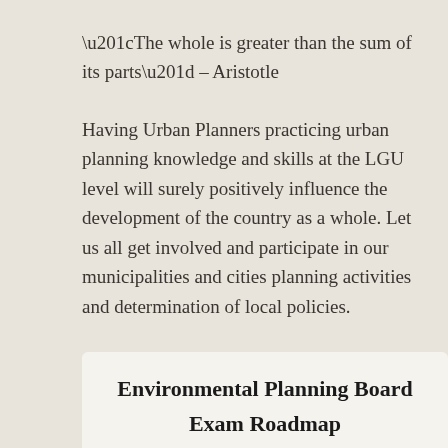“The whole is greater than the sum of its parts” – Aristotle
Having Urban Planners practicing urban planning knowledge and skills at the LGU level will surely positively influence the development of the country as a whole. Let us all get involved and participate in our municipalities and cities planning activities and determination of local policies.
Other related topics:
Environmental Planning Board Exam Roadmap